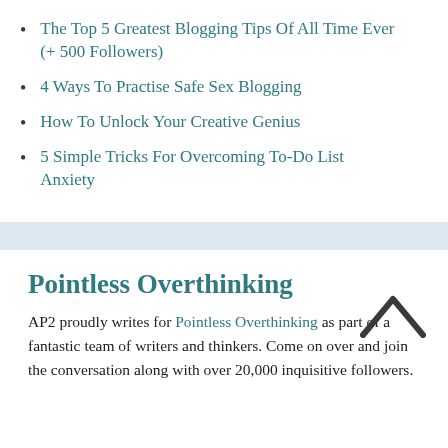The Top 5 Greatest Blogging Tips Of All Time Ever (+ 500 Followers)
4 Ways To Practise Safe Sex Blogging
How To Unlock Your Creative Genius
5 Simple Tricks For Overcoming To-Do List Anxiety
Pointless Overthinking
AP2 proudly writes for Pointless Overthinking as part of a fantastic team of writers and thinkers. Come on over and join the conversation along with over 20,000 inquisitive followers.